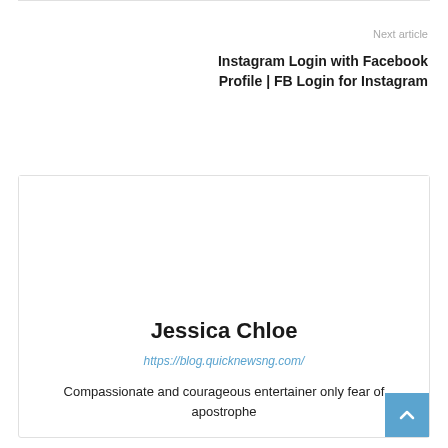Next article
Instagram Login with Facebook Profile | FB Login for Instagram
Jessica Chloe
https://blog.quicknewsng.com/
Compassionate and courageous entertainer only fear of apostrophe